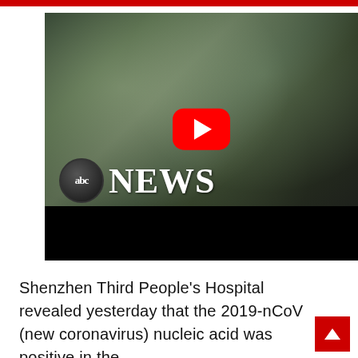[Figure (screenshot): ABC News video thumbnail showing two healthcare workers in full white protective suits/hazmat gear in a hospital setting, with a YouTube-style red play button overlay. The ABC NEWS logo (circular globe icon + 'NEWS' in white) appears in the lower-left of the video frame over a black bar.]
Shenzhen Third People's Hospital revealed yesterday that the 2019-nCoV (new coronavirus) nucleic acid was positive in the